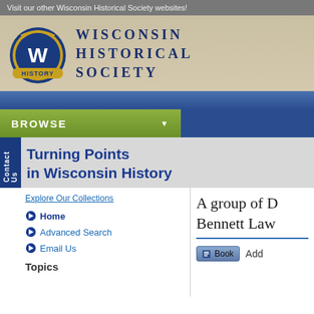Visit our other Wisconsin Historical Society websites!
[Figure (logo): Wisconsin Historical Society logo with circular W badge and text 'WISCONSIN HISTORICAL SOCIETY']
BROWSE
Turning Points in Wisconsin History
Explore Our Collections
Home
Advanced Search
Email Us
Topics
A group of D... Bennett Law...
Book   Add...